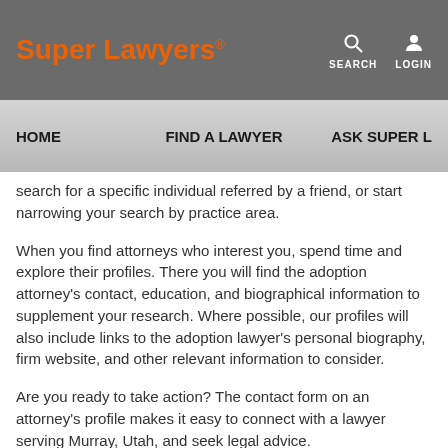Super Lawyers
HOME   FIND A LAWYER   ASK SUPER L...
search for a specific individual referred by a friend, or start narrowing your search by practice area.
When you find attorneys who interest you, spend time and explore their profiles. There you will find the adoption attorney's contact, education, and biographical information to supplement your research. Where possible, our profiles will also include links to the adoption lawyer's personal biography, firm website, and other relevant information to consider.
Are you ready to take action? The contact form on an attorney's profile makes it easy to connect with a lawyer serving Murray, Utah, and seek legal advice.